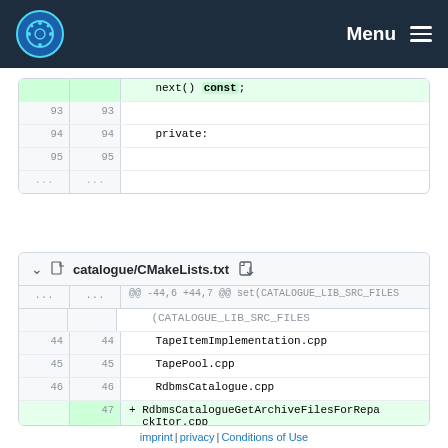Menu
next() const;
93  93
94  94  private:
95  95
... ...
catalogue/CMakeLists.txt
@@ -44,6 +44,7 @@ set(CATALOGUE_LIB_SRC_FILES
44  44    TapeItemImplementation.cpp
45  45    TapePool.cpp
46  46    RdbmsCatalogue.cpp
    47  + RdbmsCatalogueGetArchiveFilesForRepackItor.cpp
47  48      RdbmsCatalogueGetArchiveFilesItor.cpp
imprint | privacy | Conditions of Use